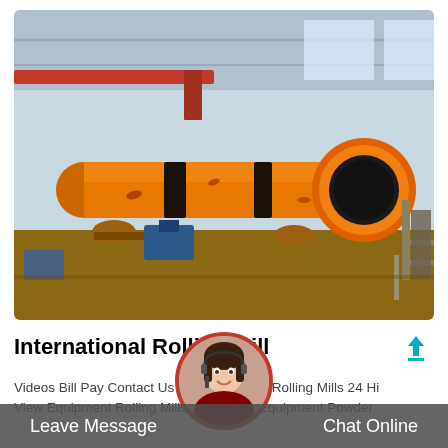[Figure (photo): Large orange industrial rotary drum mill / rotary kiln in a factory warehouse setting. The cylindrical orange drum dominates the image, resting on support rollers, with steel structure and blue machinery visible in the background.]
International Rolling Mill
Videos Bill Pay Contact Us  ment Rolling Mills 24 Hi View Equipment Rolling Mills 24 Hi View Equipment Powder
[Figure (photo): Customer service representative avatar — woman smiling wearing headset, shown in a circular badge with red border at the bottom center of the page.]
Leave Message     Chat Online